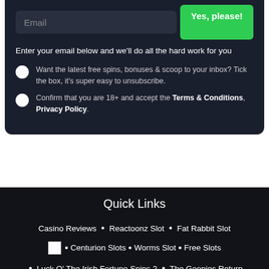Email
Yes, please!
Enter your email below and we'll do all the hard work for you
Want the latest free spins, bonuses & scoop to your inbox? Tick the box, it's super easy to unsubscribe.
Confirm that you are 18+ and accept the Terms & Conditions, Privacy Policy.
Quick Links
Casino Reviews • Reactoonz Slot • Fat Rabbit Slot • Centurion Slots • Worms Slot • Free Slots • Luck O' The Irish Fortune Spins 2 • The Goonies Return
Play Now